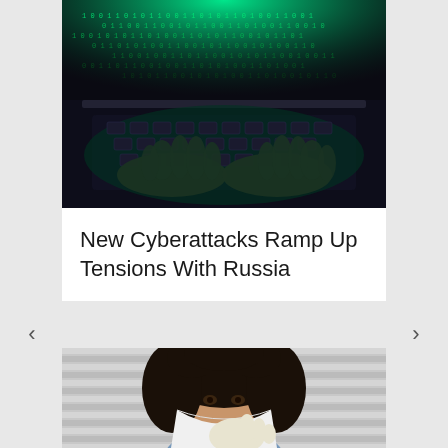[Figure (photo): Dark photo of hands typing on a laptop keyboard with green glowing binary code streaming upward from the screen, hacker/cybersecurity concept image]
New Cyberattacks Ramp Up Tensions With Russia
[Figure (photo): Photo of a woman with curly dark hair wearing a white medical face mask and white gloves, looking at the camera, with horizontal blinds visible in the background]